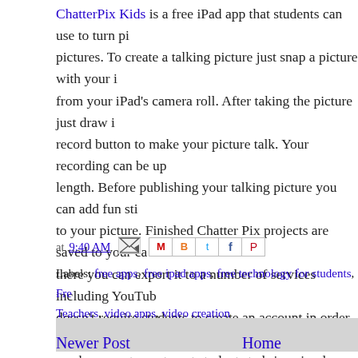ChatterPix Kids is a free iPad app that students can use to turn pictures. To create a talking picture just snap a picture with your iPad's camera roll. After taking the picture just draw record button to make your picture talk. Your recording can be up length. Before publishing your talking picture you can add fun sti to your picture. Finished Chatter Pix projects are saved to your ca there you can export it to a number of services including YouTub doesn't require students to create an account in order to use the s can be a great way to get students to bring simple stories to life.
at 9:40 AM [share icons]
Labels: free apps, free ipad apps, free technology for students, Free Teachers, video apps, video creation